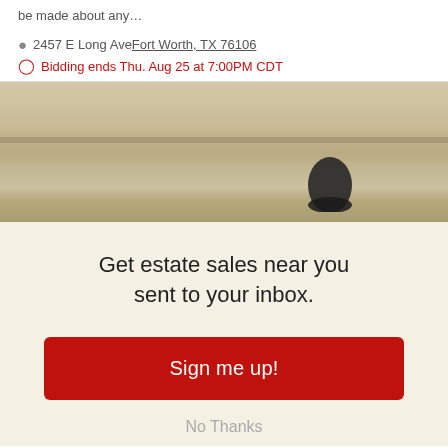be made about any…
📍 2457 E Long Ave Fort Worth, TX 76106
⏱ Bidding ends Thu. Aug 25 at 7:00PM CDT
[Figure (photo): Photo of a concrete surface (sidewalk or step edge) with a partial view of a dark shoe/foot at the lower right.]
Get estate sales near you sent to your inbox.
Sign me up!
No Thanks